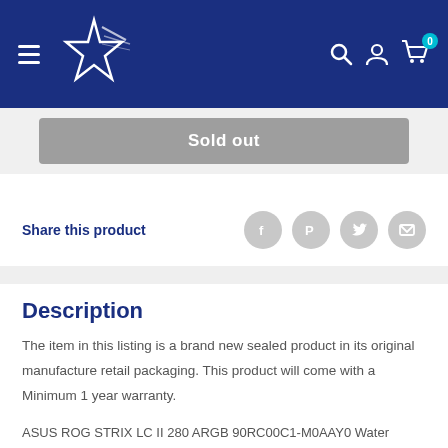[Figure (logo): Website header with hamburger menu, star logo on dark blue background, and icons for search, account, and cart (showing 0 items)]
Sold out
Share this product
Description
The item in this listing is a brand new sealed product in its original manufacture retail packaging. This product will come with a Minimum 1 year warranty.
ASUS ROG STRIX LC II 280 ARGB 90RC00C1-M0AAY0 Water